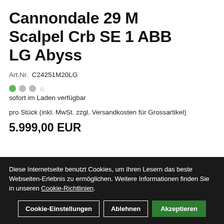Cannondale 29 M Scalpel Crb SE 1 ABB LG Abyss
Art.Nr.  C24251M20LG
sofort im Laden verfügbar
pro Stück (inkl. MwSt. zzgl. Versandkosten für Grossartikel)
5.999,00 EUR
Diese Internetseite benutzt Cookies, um Ihren Lesern das beste Webseiten-Erlebnis zu ermöglichen. Weitere Informationen finden Sie in unseren Cookie-Richtlinien.
Cookie-Einstellungen
Ablehnen
Akzeptieren